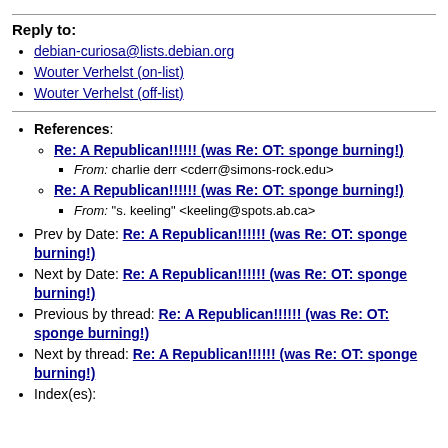Reply to:
debian-curiosa@lists.debian.org
Wouter Verhelst (on-list)
Wouter Verhelst (off-list)
References: Re: A Republican!!!!!! (was Re: OT: sponge burning!) From: charlie derr <cderr@simons-rock.edu> | Re: A Republican!!!!!! (was Re: OT: sponge burning!) From: "s. keeling" <keeling@spots.ab.ca>
Prev by Date: Re: A Republican!!!!!! (was Re: OT: sponge burning!)
Next by Date: Re: A Republican!!!!!! (was Re: OT: sponge burning!)
Previous by thread: Re: A Republican!!!!!! (was Re: OT: sponge burning!)
Next by thread: Re: A Republican!!!!!! (was Re: OT: sponge burning!)
Index(es):